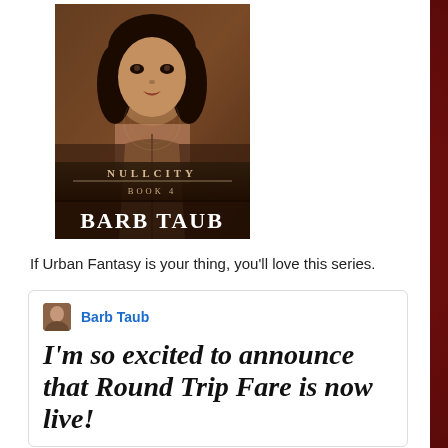[Figure (illustration): Book cover for 'Null City Book 4' by Barb Taub — dark fantasy cover showing a woman with dark hair, ornate background, with the text NULLCITY BOOK 4 and BARB TAUB]
If Urban Fantasy is your thing, you'll love this series.
Barb Taub
I'm so excited to announce that Round Trip Fare is now live!